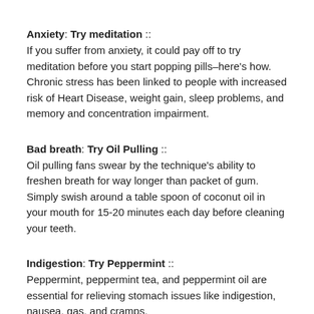Anxiety: Try meditation :: If you suffer from anxiety, it could pay off to try meditation before you start popping pills–here's how. Chronic stress has been linked to people with increased risk of Heart Disease, weight gain, sleep problems, and memory and concentration impairment.
Bad breath: Try Oil Pulling :: Oil pulling fans swear by the technique's ability to freshen breath for way longer than packet of gum. Simply swish around a table spoon of coconut oil in your mouth for 15-20 minutes each day before cleaning your teeth.
Indigestion: Try Peppermint :: Peppermint, peppermint tea, and peppermint oil are essential for relieving stomach issues like indigestion, nausea, gas, and cramps.
Headaches: Try Acupuncture ::